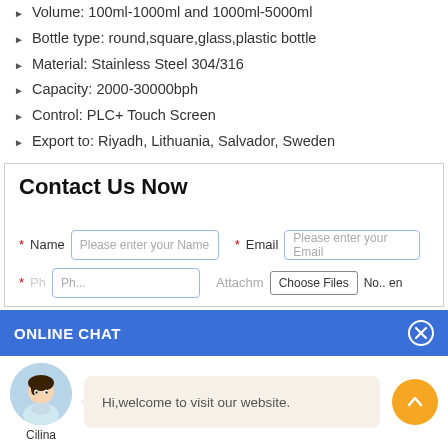Volume: 100ml-1000ml and 1000ml-5000ml
Bottle type: round,square,glass,plastic bottle
Material: Stainless Steel 304/316
Capacity: 2000-30000bph
Control: PLC+ Touch Screen
Export to: Riyadh, Lithuania, Salvador, Sweden
Contact Us Now
* Name  Please enter your Name   * Email  Please enter your Email   * Ph...  Ph...   Attachme... Choose Files  No... en
ONLINE CHAT
Hi,welcome to visit our website.
Cilina